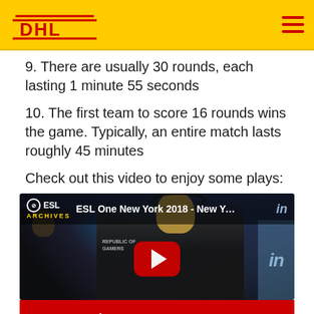[Figure (logo): DHL logo in red on yellow header background with hamburger menu icon]
9. There are usually 30 rounds, each lasting 1 minute 55 seconds
10. The first team to score 16 rounds wins the game. Typically, an entire match lasts roughly 45 minutes
Check out this video to enjoy some plays:
[Figure (screenshot): YouTube video thumbnail showing ESL One New York 2018 - New York ... with gamers at computers, ESL Archives logo, Intel branding, and red YouTube play button]
↑ Back to overview